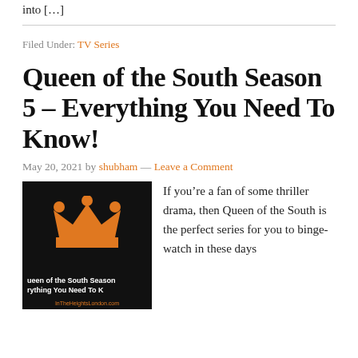into [...]
Filed Under: TV Series
Queen of the South Season 5 – Everything You Need To Know!
May 20, 2021 by shubham — Leave a Comment
[Figure (illustration): Black background image with an orange crown icon and text 'Queen of the South Season Everything You Need To K' and 'InTheHeightsLondon.com' at the bottom]
If you're a fan of some thriller drama, then Queen of the South is the perfect series for you to binge-watch in these days